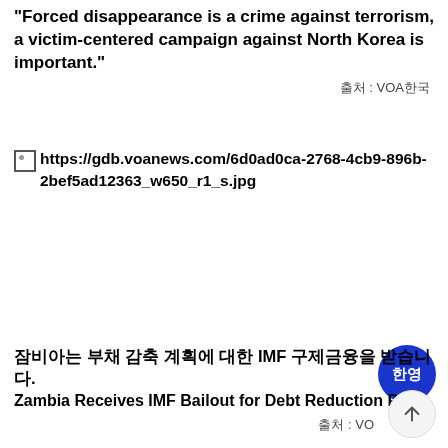"Forced disappearance is a crime against terrorism, a victim-centered campaign against North Korea is important."
출처 : VOA한국
[Figure (other): Broken image placeholder showing URL: https://gdb.voanews.com/6d0ad0ca-2768-4cb9-896b-2bef5ad12363_w650_r1_s.jpg]
잠비아는 부채 감축 계획에 대한 IMF 구제금융을 받습니다. Zambia Receives IMF Bailout for Debt Reduction Plan
출처 : VO